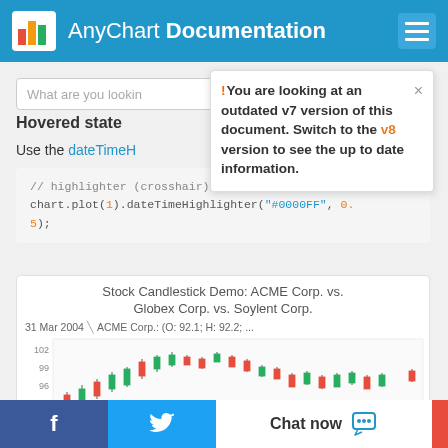AnyChart Documentation
What are you lookin...
Hovered state
Use the dateTimeH...
You are looking at an outdated v7 version of this document. Switch to the v8 version to see the up to date information.
[Figure (screenshot): Stock Candlestick Demo: ACME Corp. vs. Globex Corp. vs. Soylent Corp. chart screenshot showing candlestick data. Date shown: 31 Mar 2004. ACME Corp.: (O: 92.1; H: 92.2; ...). Y-axis values: 93, 96, 99, 102.]
f  [Twitter bird]  Chat now  [chat icon]